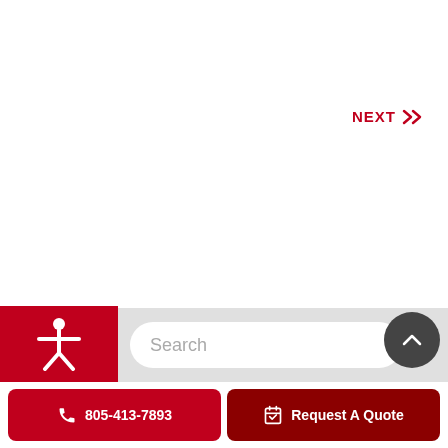NEXT »
[Figure (screenshot): Search bar with rounded corners and placeholder text 'Search']
[Figure (illustration): Accessibility icon (person with arms outstretched) on red background]
[Figure (illustration): Scroll-to-top button (dark circle with upward chevron)]
805-413-7893
Request A Quote